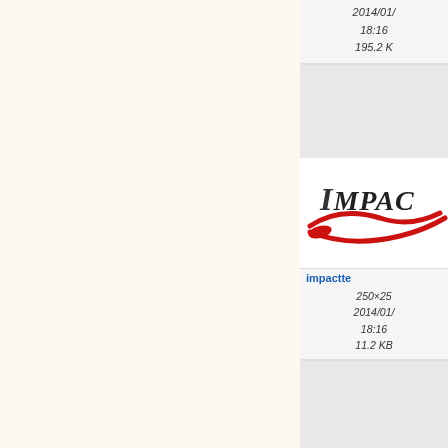[Figure (screenshot): File browser/media manager UI showing file cards on the right side with thumbnails, filenames, dates and sizes. Left panel is a light cream/beige background content area. Right panel shows file listing cards.]
2014/01/
18:16
195.2 K
[Figure (logo): Impact branding logo thumbnail with italic IMPACT text and red Nike-style swoosh logo]
impactte
250×25
2014/01/
18:16
11.2 KB
[Figure (logo): PDF file icon with red border and red Acrobat-style swoosh/page icon inside]
jaya_arti
2014/01/
18:16